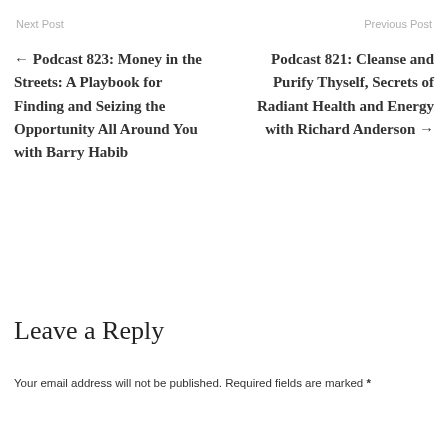Next Post | Previous Post
← Podcast 823: Money in the Streets: A Playbook for Finding and Seizing the Opportunity All Around You with Barry Habib
Podcast 821: Cleanse and Purify Thyself, Secrets of Radiant Health and Energy with Richard Anderson →
Leave a Reply
Your email address will not be published. Required fields are marked *